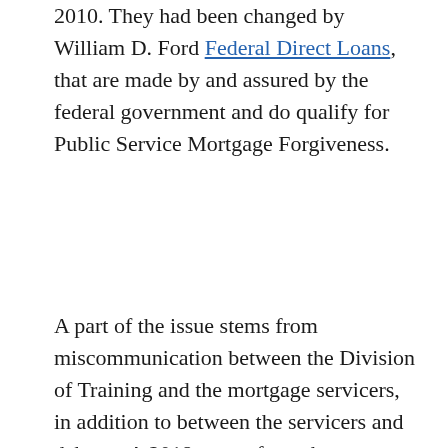2010. They had been changed by William D. Ford Federal Direct Loans, that are made by and assured by the federal government and do qualify for Public Service Mortgage Forgiveness.
A part of the issue stems from miscommunication between the Division of Training and the mortgage servicers, in addition to between the servicers and debtors. A 2018 report from the Authorities